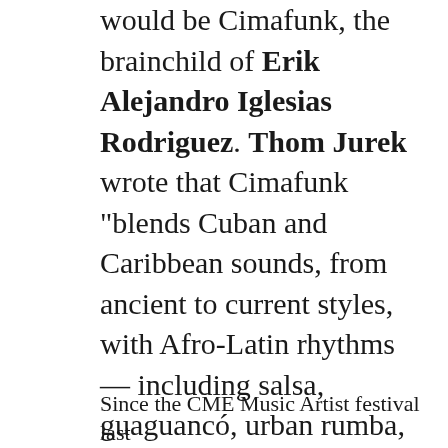would be Cimafunk, the brainchild of Erik Alejandro Iglesias Rodriguez. Thom Jurek wrote that Cimafunk "blends Cuban and Caribbean sounds, from ancient to current styles, with Afro-Latin rhythms — including salsa, guaguancó, urban rumba, nueva trova, timba, and Santería ritual music — alongside modern funk, soul, pop, hip-hop, and EDM. His lyrics derive directly from Havana's street culture."
Since the CME Music Artist festival last...